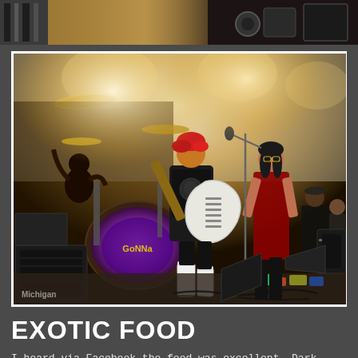[Figure (photo): Partial top strip of a photo showing instruments/band equipment with zebra print and motorcycle/drum parts visible]
[Figure (photo): Band performing on stage under a white tent. A red-haired guitarist in black outfit with white boots plays a white electric guitar. A drummer is visible at the back left. Other band members including a singer are on the right side. Purple light illuminates the bass drum. Stage has various equipment, pedals, and cables on the floor. Michigan watermark visible at bottom left.]
EXOTIC FOOD
I heard via Facebook the food was excellent. Dark Horse goes out of their way to make it unique and interesting.